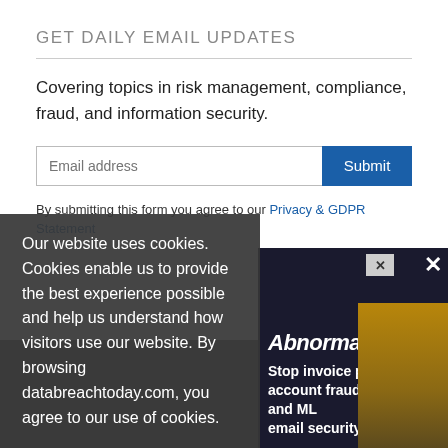GET DAILY EMAIL UPDATES
Covering topics in risk management, compliance, fraud, and information security.
Email address  Submit
By submitting this form you agree to our Privacy & GDPR Statement
Our website uses cookies. Cookies enable us to provide the best experience possible and help us understand how visitors use our website. By browsing databreachtoday.com, you agree to our use of cookies.
[Figure (screenshot): Advertisement banner with Abnormal Security branding showing text about stopping invoice payment, account fraud with AI and ML email security, with a woman's photo.]